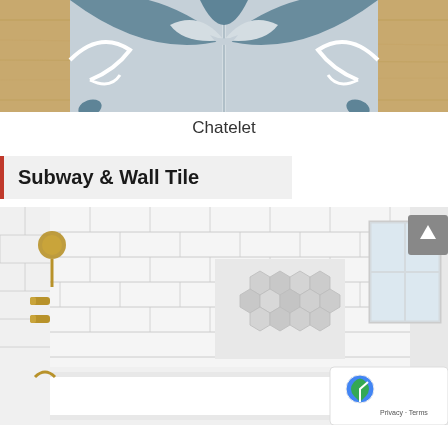[Figure (photo): Decorative ceramic tiles with blue-grey scrollwork pattern on a light wood background - Chatelet tile design]
Chatelet
Subway & Wall Tile
[Figure (photo): Bathroom interior with white subway tile walls, gold/brass fixtures, a bathtub, and a hexagonal mosaic tile niche accent. A scroll-to-top button and reCAPTCHA badge are visible.]